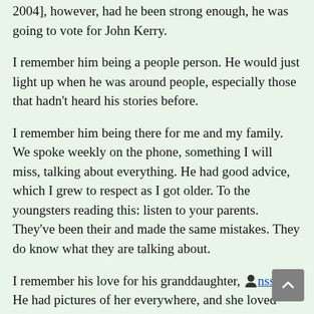2004], however, had he been strong enough, he was going to vote for John Kerry.
I remember him being a people person. He would just light up when he was around people, especially those that hadn't heard his stories before.
I remember him being there for me and my family. We spoke weekly on the phone, something I will miss, talking about everything. He had good advice, which I grew to respect as I got older. To the youngsters reading this: listen to your parents. They've been their and made the same mistakes. They do know what they are talking about.
I remember his love for his granddaughter, [user icon] nsshere. He had pictures of her everywhere, and she loved him. I remember him taking her to Disneyland when she was three, and being there in the hospital when she had her open heart surgery at the age of four.
I remember his love for his family. He enjoyed